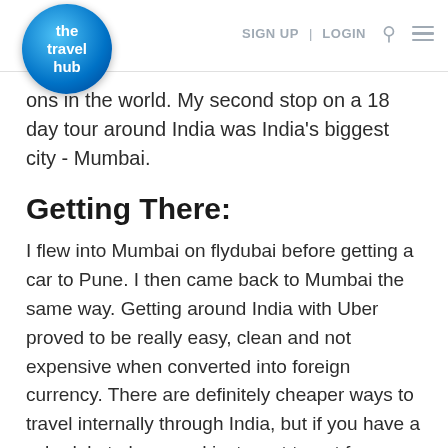the travel hub | SIGN UP | LOGIN
ons in the world. My second stop on a 18 day tour around India was India's biggest city - Mumbai.
Getting There:
I flew into Mumbai on flydubai before getting a car to Pune. I then came back to Mumbai the same way. Getting around India with Uber proved to be really easy, clean and not expensive when converted into foreign currency. There are definitely cheaper ways to travel internally through India, but if you have a schedule to keep and just want to get from one place to another,